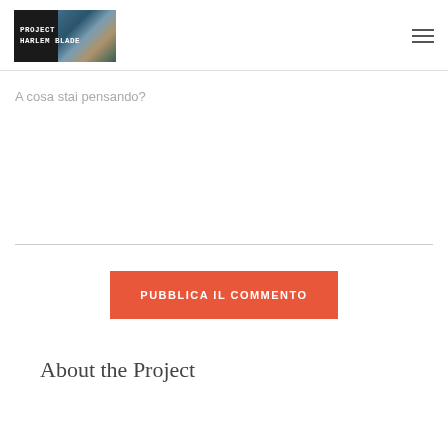PROJECT HARLEM BLADE
A cosa stai pensando?
PUBBLICA IL COMMENTO
About the Project